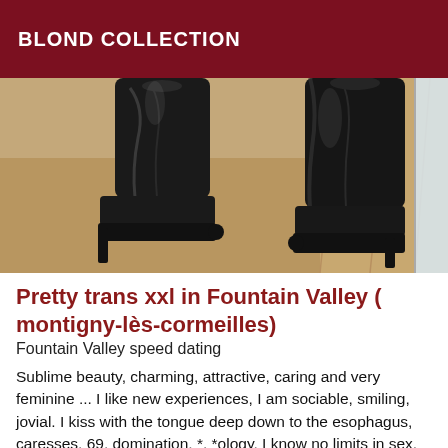BLOND COLLECTION
[Figure (photo): Close-up photo of legs wearing black patent leather high-heeled boots standing on a hardwood floor with a rug, bright window visible at right edge.]
Pretty trans xxl in Fountain Valley ( montigny-lès-cormeilles)
Fountain Valley speed dating
Sublime beauty, charming, attractive, caring and very feminine ... I like new experiences, I am sociable, smiling, jovial. I kiss with the tongue deep down to the esophagus, caresses, 69, domination, *, *ology, I know no limits in sex, I'm very open to new discoveries too, it's enough to suggest them to me, I'll say yes . I want to